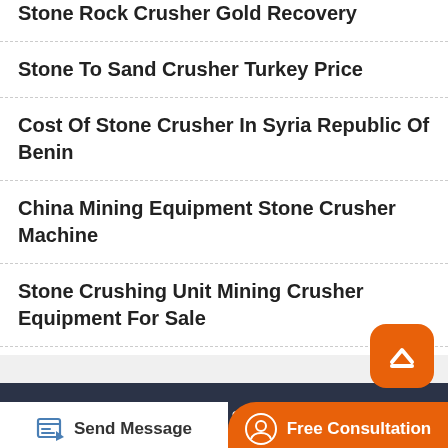Stone Rock Crusher Gold Recovery
Stone To Sand Crusher Turkey Price
Cost Of Stone Crusher In Syria Republic Of Benin
China Mining Equipment Stone Crusher Machine
Stone Crushing Unit Mining Crusher Equipment For Sale
Copyright © 2022. Henan Spurx Mining Machinery Co.,Ltd. All rights reserved Sitemap